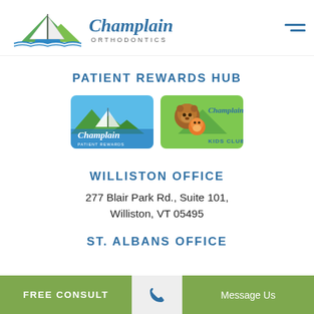[Figure (logo): Champlain Orthodontics logo with sailboat and mountain illustration on the left, and script 'Champlain' with 'ORTHODONTICS' below in spaced letters on the right]
PATIENT REWARDS HUB
[Figure (illustration): Two loyalty card images side by side: left card shows Champlain Patient Rewards card with lake/sailboat scene; right card shows Kids Club card with bear and fox cartoon characters and Champlain branding]
WILLISTON OFFICE
277 Blair Park Rd., Suite 101,
Williston, VT 05495
ST. ALBANS OFFICE
FREE CONSULT
Message Us